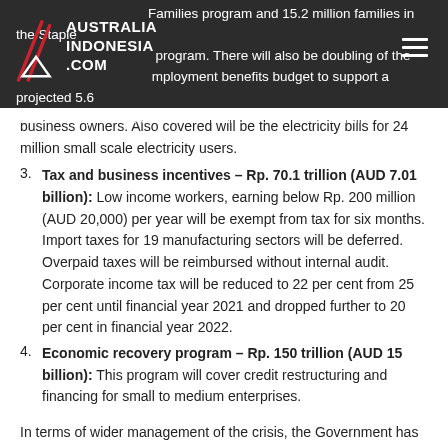AUSTRALIA INDONESIA .COM
Families program and 15.2 million families in the Staple [Food] program. There will also be doubling of the [un]employment benefits budget to support a projected 5.6 million newly unemployed and informal workers and small business owners. Also covered will be the electricity bills for 24 million small scale electricity users.
Tax and business incentives – Rp. 70.1 trillion (AUD 7.01 billion): Low income workers, earning below Rp. 200 million (AUD 20,000) per year will be exempt from tax for six months. Import taxes for 19 manufacturing sectors will be deferred. Overpaid taxes will be reimbursed without internal audit. Corporate income tax will be reduced to 22 per cent from 25 per cent until financial year 2021 and dropped further to 20 per cent in financial year 2022.
Economic recovery program – Rp. 150 trillion (AUD 15 billion): This program will cover credit restructuring and financing for small to medium enterprises.
In terms of wider management of the crisis, the Government has been very cautious about trying to lock down regions. Given recent experiences in India where a lockdown was applied before any social safety net was announced, this may have been a reasonable